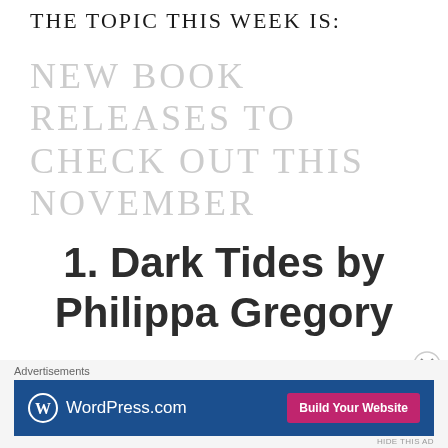THE TOPIC THIS WEEK IS:
NEW BOOK RELEASES TO CHECK OUT THIS NOVEMBER
1. Dark Tides by Philippa Gregory
Advertisements
[Figure (screenshot): WordPress.com advertisement banner with blue background, WordPress logo, and 'Build Your Website' pink button]